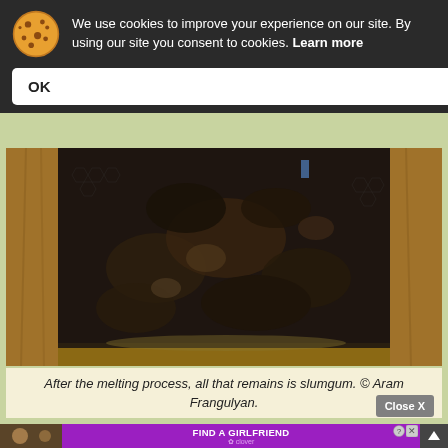We use cookies to improve your experience on our site. By using our site you consent to cookies. Learn more
OK
[Figure (photo): Close-up photograph of dark slumgum residue remaining in a wooden beehive frame after the wax melting process. The material appears dark brown-black and chunky with honeycomb texture visible.]
After the melting process, all that remains is slumgum. © Aram Frangulyan.
[Figure (screenshot): Bottom strip showing a partially visible advertisement: 'FIND A GIRLFRIEND' on purple background with Clover branding, alongside thumbnail images and a scroll-up button.]